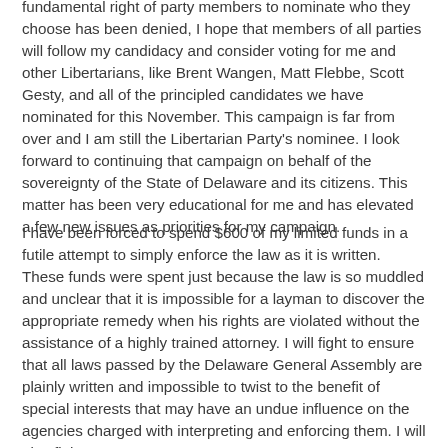fundamental right of party members to nominate who they choose has been denied, I hope that members of all parties will follow my candidacy and consider voting for me and other Libertarians, like Brent Wangen, Matt Flebbe, Scott Gesty, and all of the principled candidates we have nominated for this November. This campaign is far from over and I am still the Libertarian Party's nominee. I look forward to continuing that campaign on behalf of the sovereignty of the State of Delaware and its citizens. This matter has been very educational for me and has elevated a few new issues as priorities for my campaign.
I have been forced to spend $600 of my limited funds in a futile attempt to simply enforce the law as it is written. These funds were spent just because the law is so muddled and unclear that it is impossible for a layman to discover the appropriate remedy when his rights are violated without the assistance of a highly trained attorney. I will fight to ensure that all laws passed by the Delaware General Assembly are plainly written and impossible to twist to the benefit of special interests that may have an undue influence on the agencies charged with interpreting and enforcing them. I will also fight to ensure that the citizens of Delaware have the right to...